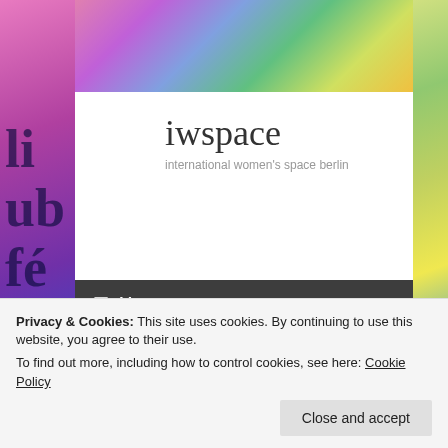[Figure (screenshot): Website screenshot of iwspace — international women's space berlin, showing colorful painted background on left and right sides, white content panel in center, dark navigation bar, and partial conference title heading]
iwspace
international women's space berlin
≡ Menu
CONFERENCE: WHEN I
Privacy & Cookies: This site uses cookies. By continuing to use this website, you agree to their use.
To find out more, including how to control cookies, see here: Cookie Policy
Close and accept